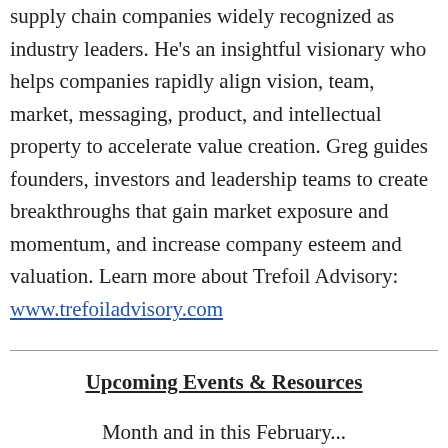supply chain companies widely recognized as industry leaders. He's an insightful visionary who helps companies rapidly align vision, team, market, messaging, product, and intellectual property to accelerate value creation. Greg guides founders, investors and leadership teams to create breakthroughs that gain market exposure and momentum, and increase company esteem and valuation. Learn more about Trefoil Advisory: www.trefoiladvisory.com
Upcoming Events & Resources
Month and in this February...